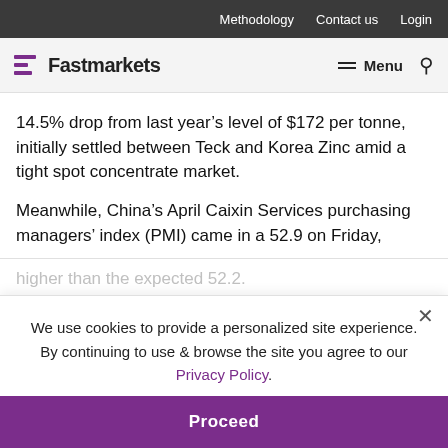Methodology  Contact us  Login
Fastmarkets  Menu
14.5% drop from last year’s level of $172 per tonne, initially settled between Teck and Korea Zinc amid a tight spot concentrate market.
Meanwhile, China’s April Caixin Services purchasing managers’ index (PMI) came in a 52.9 on Friday, higher than the expected 52.2.
April survey data pointed to a stronger increases in stout across both the manufacturing and services sectors. Growth of output improved to a solid pace, although remained slower than that seen at
We use cookies to provide a personalized site experience.
By continuing to use & browse the site you agree to our Privacy Policy.
Proceed